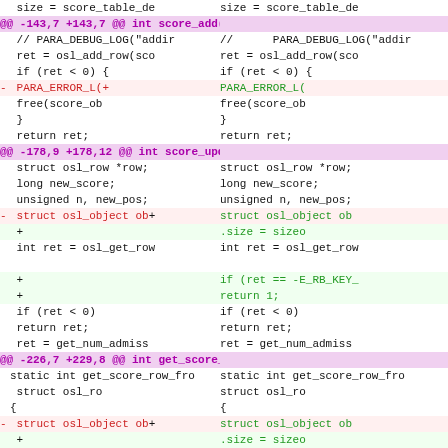[Figure (screenshot): Side-by-side diff view of C source code showing three diff hunks. Left column shows old code, right column shows new code. Hunk headers in purple, removed lines in red on yellow background, added lines in green on green background, context lines on white.]